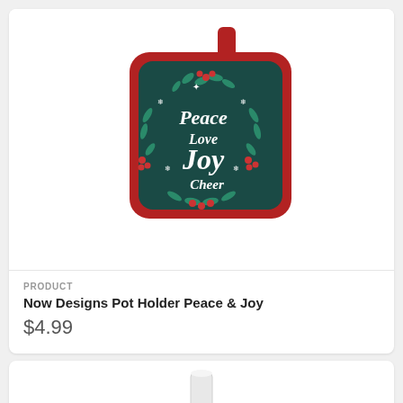[Figure (photo): A square pot holder with red border and red loop hanger, featuring a dark teal background with a decorative holiday design reading 'Peace Love Joy Cheer' surrounded by green leaves, red berries, and snowflakes in white and teal.]
PRODUCT
Now Designs Pot Holder Peace & Joy
$4.99
[Figure (photo): A white cylindrical product (partially visible) on a white background.]